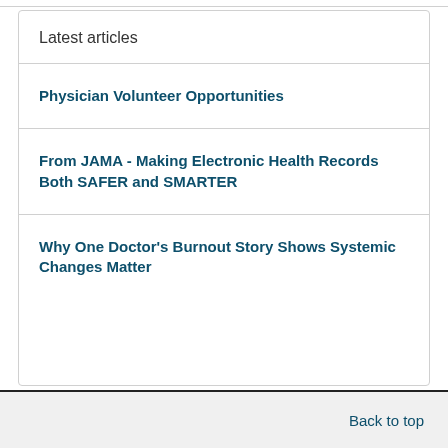Latest articles
Physician Volunteer Opportunities
From JAMA - Making Electronic Health Records Both SAFER and SMARTER
Why One Doctor's Burnout Story Shows Systemic Changes Matter
Back to top